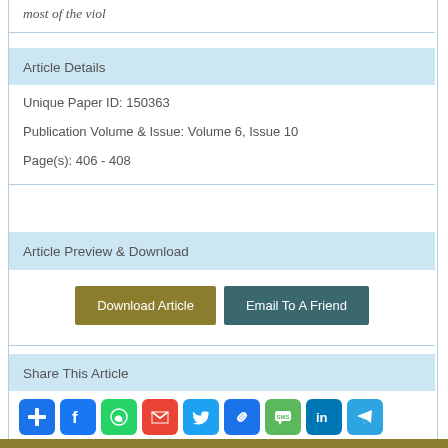most of the viol
Article Details
Unique Paper ID: 150363
Publication Volume & Issue: Volume 6, Issue 10
Page(s): 406 - 408
Article Preview & Download
Download Article   Email To A Friend
Share This Article
[Figure (other): Row of social media share icons: AddThis, Facebook, WhatsApp, Gmail, Twitter, Copy Link, SMS, LinkedIn, Telegram]